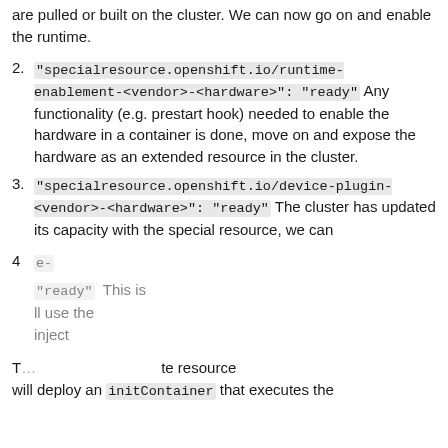are pulled or built on the cluster. We can now go on and enable the runtime.
2. "specialresource.openshift.io/runtime-enablement-<vendor>-<hardware>": "ready" Any functionality (e.g. prestart hook) needed to enable the hardware in a container is done, move on and expose the hardware as an extended resource in the cluster.
3. "specialresource.openshift.io/device-plugin-<vendor>-<hardware>": "ready" The cluster has updated its capacity with the special resource, we can
4. [partially obscured] "ready" This is ... will use the ... inject
T... te resource will deploy an initContainer that executes the
[Figure (screenshot): Cookie consent popup overlay with 'How we use cookies' title, info icon, close button, cookie usage description text with Privacy Statement link]